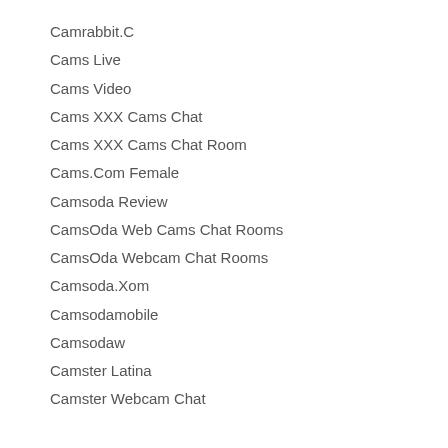Camrabbit.C
Cams Live
Cams Video
Cams XXX Cams Chat
Cams XXX Cams Chat Room
Cams.Com Female
Camsoda Review
CamsOda Web Cams Chat Rooms
CamsOda Webcam Chat Rooms
Camsoda.Xom
Camsodamobile
Camsodaw
Camster Latina
Camster Webcam Chat